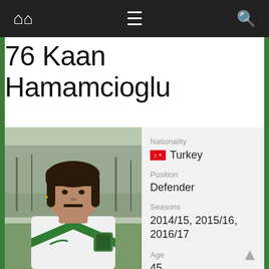Navigation bar with home, menu, and search icons
76 Kaan Hamamcioglu
[Figure (photo): Player photo of Kaan Hamamcioglu in a white and green football kit with a club badge, standing outdoors with bare trees in the background]
Nationality
Turkey
Position
Defender
Seasons
2014/15, 2015/16, 2016/17
Age
45